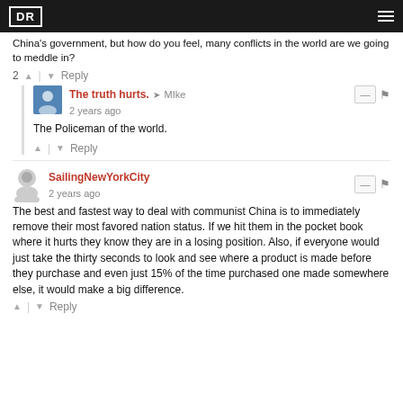DR
China's government, but how do you feel, many conflicts in the world are we going to meddle in?
2 ^ | v Reply
The truth hurts. → MIke
2 years ago
The Policeman of the world.
^ | v Reply
SailingNewYorkCity
2 years ago
The best and fastest way to deal with communist China is to immediately remove their most favored nation status. If we hit them in the pocket book where it hurts they know they are in a losing position. Also, if everyone would just take the thirty seconds to look and see where a product is made before they purchase and even just 15% of the time purchased one made somewhere else, it would make a big difference.
^ | v Reply